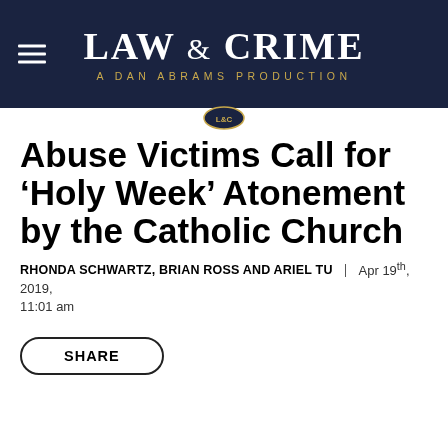LAW & CRIME | A DAN ABRAMS PRODUCTION
Abuse Victims Call for ‘Holy Week’ Atonement by the Catholic Church
RHONDA SCHWARTZ, BRIAN ROSS AND ARIEL TU | Apr 19th, 2019, 11:01 am
SHARE